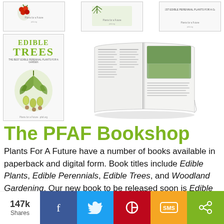[Figure (photo): Top row of three book covers from PFAF bookshop, partially cropped]
[Figure (photo): Edible Trees book cover with green title and botanical illustration, alongside an open book showing dense text columns with a photo]
The PFAF Bookshop
Plants For A Future have a number of books available in paperback and digital form. Book titles include Edible Plants, Edible Perennials, Edible Trees, and Woodland Gardening. Our new book to be released soon is Edible Shrubs.
[Figure (infographic): Social share bar showing 147k Shares with Facebook, Twitter, Pinterest, SMS, and general share buttons]